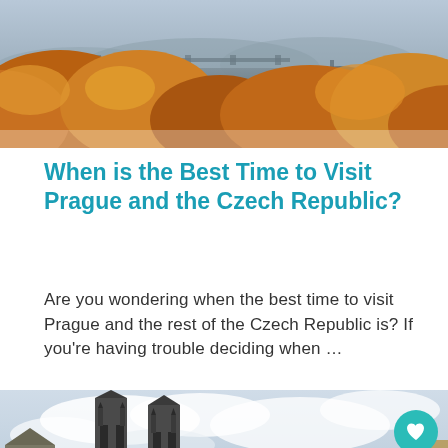[Figure (photo): Aerial autumn view of Prague with orange and golden foliage in the foreground, river and bridges visible in the misty background.]
When is the Best Time to Visit Prague and the Czech Republic?
Are you wondering when the best time to visit Prague and the rest of the Czech Republic is?  If you’re having trouble deciding when…
[Figure (photo): Gothic spires of the Church of Our Lady before Týn in Prague's Old Town Square, with other historic buildings and a cloudy sky.]